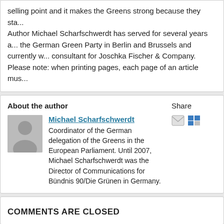selling point and it makes the Greens strong because they sta...
Author Michael Scharfschwerdt has served for several years a... the German Green Party in Berlin and Brussels and currently w... consultant for Joschka Fischer & Company.
Please note: when printing pages, each page of an article mus...
About the author
Michael Scharfschwerdt
Coordinator of the German delegation of the Greens in the European Parliament. Until 2007, Michael Scharfschwerdt was the Director of Communications for Bündnis 90/Die Grünen in Germany.
Share
COMMENTS ARE CLOSED